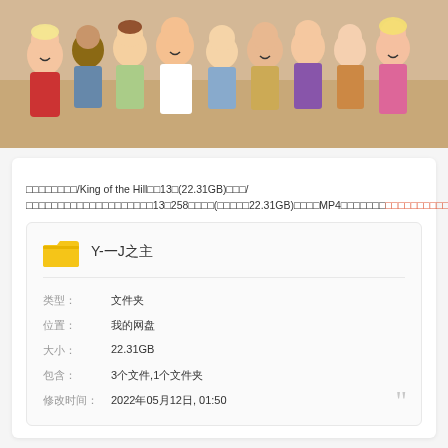[Figure (illustration): Cartoon illustration of King of the Hill animated characters grouped together, colorful animated style]
□□□□□□□□/King of the Hill□□13□(22.31GB)□□□/□□□□□□□□□□□□□□□□□□□□13□258□□□□(□□□□□22.31GB)□□□□MP4□□□□□□□□□□□□□□□□□□□□□□□□□□□□□□□□
[Figure (screenshot): File info card showing folder named Y-一J之主, type: 文件夹, location: 我的网盘, size: 22.31GB, contains: 3个文件,1个文件夹, modified: 2022年05月12日, 01:50]
□□□□□□ King of the Hill □□□□□□□□□□□□□□□□□□